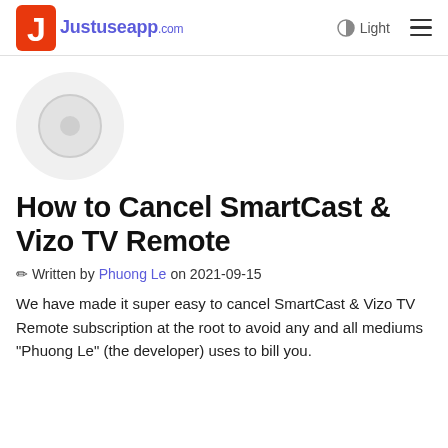Justuseapp.com  Light  ☰
[Figure (logo): Circular app icon placeholder with light gray background and inner circle]
How to Cancel SmartCast & Vizo TV Remote
✏ Written by Phuong Le on 2021-09-15
We have made it super easy to cancel SmartCast & Vizo TV Remote subscription at the root to avoid any and all mediums "Phuong Le" (the developer) uses to bill you.